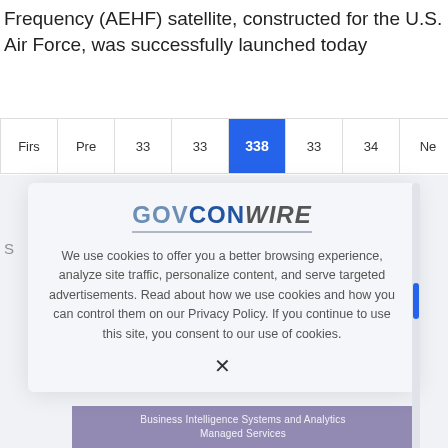Frequency (AEHF) satellite, constructed for the U.S. Air Force, was successfully launched today
Firs  Pre  33  33  338  33  34  Ne  Las
[Figure (screenshot): GovConWire cookie consent modal overlay with logo, cookie policy text, and close button X]
S
Business Intelligence Systems and Analytics
Managed Services